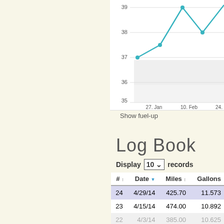[Figure (continuous-plot): Partial line chart showing fuel efficiency over time. Y-axis shows values 35–39, x-axis shows dates: 27. Jan, 10. Feb, 24. (truncated). Teal line with dots rising from ~37 at Jan 27 to ~39 peak, dipping to ~38 at Feb 10, then rising again. Shaded gray band in background.]
Show fuel-up
Log Book
Display 10 records
| # | Date | Miles | Gallons |
| --- | --- | --- | --- |
| 24 | 4/29/14 | 425.70 | 11.573 |
| 23 | 4/15/14 | 474.00 | 10.892 |
| 22 | 4/3/14 | 385.00 | 10.625 |